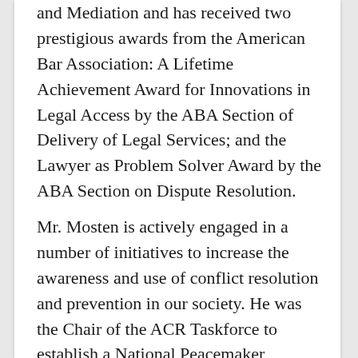and Mediation and has received two prestigious awards from the American Bar Association: A Lifetime Achievement Award for Innovations in Legal Access by the ABA Section of Delivery of Legal Services; and the Lawyer as Problem Solver Award by the ABA Section on Dispute Resolution.
Mr. Mosten is actively engaged in a number of initiatives to increase the awareness and use of conflict resolution and prevention in our society. He was the Chair of the ACR Taskforce to establish a National Peacemaker Museum and is a key thinker and supporter of the movement to form a US Department of Conflict Resolution and Prevention. In